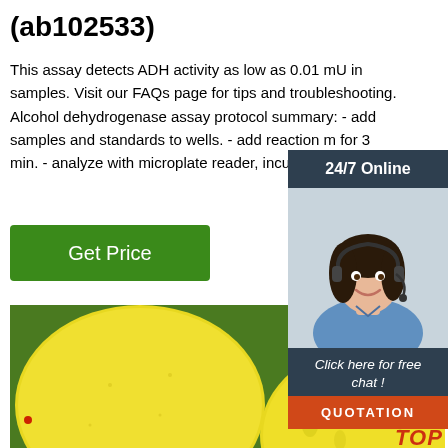(ab102533)
This assay detects ADH activity as low as 0.01 mU in samples. Visit our FAQs page for tips and troubleshooting. Alcohol dehydrogenase assay protocol summary: - add samples and standards to wells. - add reaction m... for 3 min. - analyze with microplate reader, incub...
[Figure (other): Green 'Get Price' button]
[Figure (other): 24/7 Online chat widget with customer support agent photo, 'Click here for free chat!' text, and orange QUOTATION button]
[Figure (photo): Close-up photo of yellow lemons on a green citrus tree with a TOP logo watermark in the bottom right]